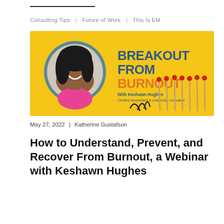Consulting Tips | Future of Work | This Is EM
[Figure (illustration): Promotional banner for 'Breakout From Burnout' webinar with Keshawn Hughes, Certified Neurocoach & Leadership Consultant. Yellow background with a circular portrait photo of a smiling Black woman, bold text 'BREAKOUT FROM BURNOUT' in blue and orange, and decorative burnt matches in the foreground.]
May 27, 2022 | Katherine Gustafson
How to Understand, Prevent, and Recover From Burnout, a Webinar with Keshawn Hughes